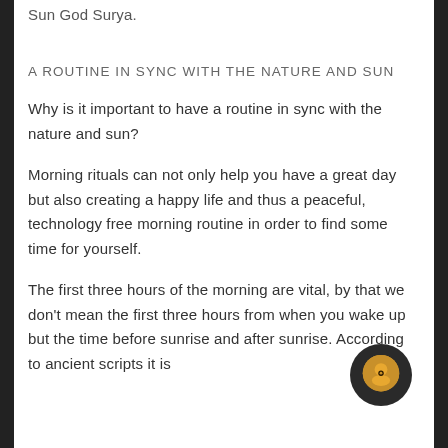Sun God Surya.
A ROUTINE IN SYNC WITH THE NATURE AND SUN
Why is it important to have a routine in sync with the nature and sun?
Morning rituals can not only help you have a great day but also creating a happy life and thus a peaceful, technology free morning routine in order to find some time for yourself.
The first three hours of the morning are vital, by that we don't mean the first three hours from when you wake up but the time before sunrise and after sunrise. According to ancient scripts it is